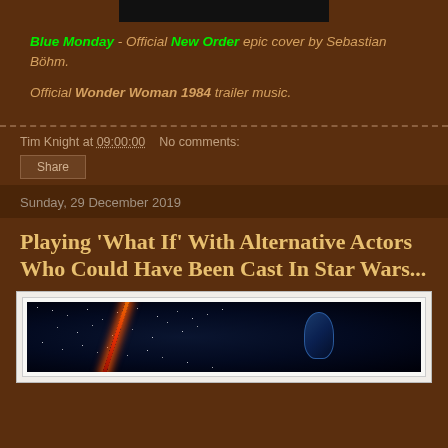[Figure (screenshot): Black video thumbnail at top]
Blue Monday - Official New Order epic cover by Sebastian Böhm.
Official Wonder Woman 1984 trailer music.
Tim Knight at 09:00:00   No comments:
Share
Sunday, 29 December 2019
Playing 'What If' With Alternative Actors Who Could Have Been Cast In Star Wars...
[Figure (photo): Star Wars themed image with lightsaber and helmet against space background]